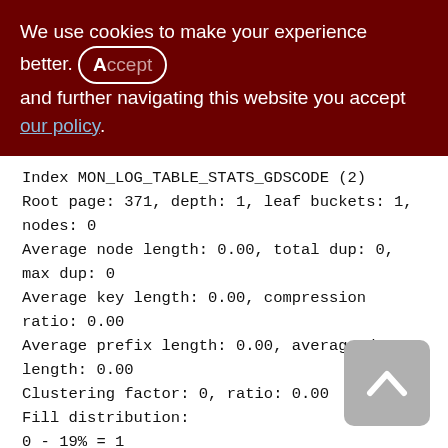We use cookies to make your experience better. By accepting and further navigating this website you accept our policy.
Index MON_LOG_TABLE_STATS_GDSCODE (2)
Root page: 371, depth: 1, leaf buckets: 1,
nodes: 0
Average node length: 0.00, total dup: 0,
max dup: 0
Average key length: 0.00, compression
ratio: 0.00
Average prefix length: 0.00, average data
length: 0.00
Clustering factor: 0, ratio: 0.00
Fill distribution:
0 - 19% = 1
20 - 39% = 0